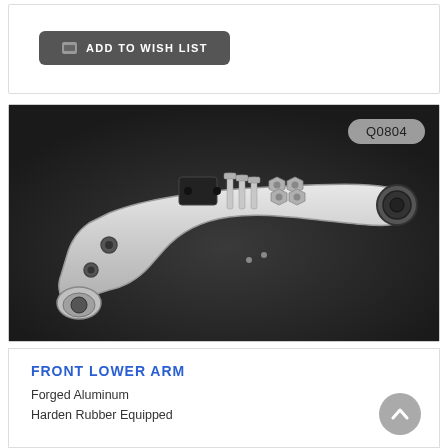[Figure (other): Dark grey 'ADD TO WISH LIST' button with a heartlist/wishlist icon on the left, on a white card background]
[Figure (photo): Product photo of a silver forged aluminum front lower control arm (Q0804) with hardware including bolts, nuts, and a mounting bracket, displayed on a dark grey background. A grey badge reading 'Q0804' appears in the upper right.]
FRONT LOWER ARM
Forged Aluminum
Harden Rubber Equipped